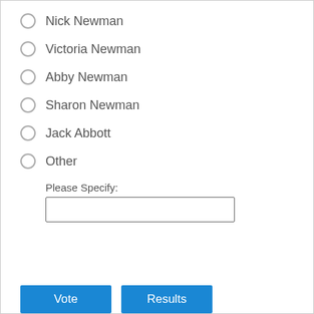Nick Newman
Victoria Newman
Abby Newman
Sharon Newman
Jack Abbott
Other
Please Specify: